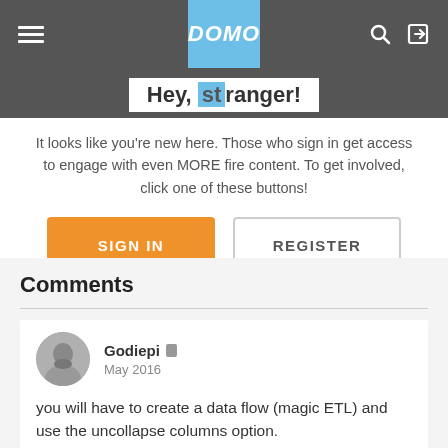DOMO navigation bar with hamburger menu, DOMO logo, search and login icons
Hey, stranger!
It looks like you're new here. Those who sign in get access to engage with even MORE fire content. To get involved, click one of these buttons!
SIGN IN | REGISTER
Comments
Godiepi  May 2016
you will have to create a data flow (magic ETL) and use the uncollapse columns option.